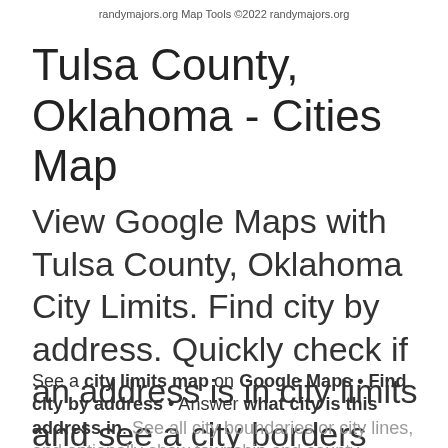randymajors.org Map Tools ©2022 randymajors.org
Tulsa County, Oklahoma - Cities Map
View Google Maps with Tulsa County, Oklahoma City Limits. Find city by address. Quickly check if an address is in city limits and see a city borders map.
See a city limits map on Google Maps • Find city by address • Answer what city is this address in. See all city boundaries or city lines, and optionally show township and county